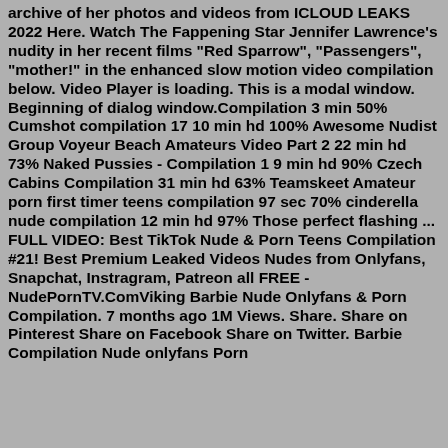archive of her photos and videos from ICLOUD LEAKS 2022 Here. Watch The Fappening Star Jennifer Lawrence's nudity in her recent films "Red Sparrow", "Passengers", "mother!" in the enhanced slow motion video compilation below. Video Player is loading. This is a modal window. Beginning of dialog window.Compilation 3 min 50% Cumshot compilation 17 10 min hd 100% Awesome Nudist Group Voyeur Beach Amateurs Video Part 2 22 min hd 73% Naked Pussies - Compilation 1 9 min hd 90% Czech Cabins Compilation 31 min hd 63% Teamskeet Amateur porn first timer teens compilation 97 sec 70% cinderella nude compilation 12 min hd 97% Those perfect flashing ... FULL VIDEO: Best TikTok Nude & Porn Teens Compilation #21! Best Premium Leaked Videos Nudes from Onlyfans, Snapchat, Instragram, Patreon all FREE - NudePornTV.ComViking Barbie Nude Onlyfans & Porn Compilation. 7 months ago 1M Views. Share. Share on Pinterest Share on Facebook Share on Twitter. Barbie Compilation Nude onlyfans Porn